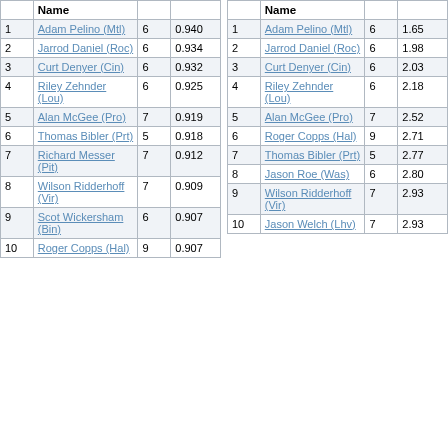|  | Name |  |  |
| --- | --- | --- | --- |
| 1 | Adam Pelino (Mtl) | 6 | 0.940 |
| 2 | Jarrod Daniel (Roc) | 6 | 0.934 |
| 3 | Curt Denyer (Cin) | 6 | 0.932 |
| 4 | Riley Zehnder (Lou) | 6 | 0.925 |
| 5 | Alan McGee (Pro) | 7 | 0.919 |
| 6 | Thomas Bibler (Prt) | 5 | 0.918 |
| 7 | Richard Messer (Pit) | 7 | 0.912 |
| 8 | Wilson Ridderhoff (Vir) | 7 | 0.909 |
| 9 | Scot Wickersham (Bin) | 6 | 0.907 |
| 10 | Roger Copps (Hal) | 9 | 0.907 |
|  | Name |  |  |
| --- | --- | --- | --- |
| 1 | Adam Pelino (Mtl) | 6 | 1.65 |
| 2 | Jarrod Daniel (Roc) | 6 | 1.98 |
| 3 | Curt Denyer (Cin) | 6 | 2.03 |
| 4 | Riley Zehnder (Lou) | 6 | 2.18 |
| 5 | Alan McGee (Pro) | 7 | 2.52 |
| 6 | Roger Copps (Hal) | 9 | 2.71 |
| 7 | Thomas Bibler (Prt) | 5 | 2.77 |
| 8 | Jason Roe (Was) | 6 | 2.80 |
| 9 | Wilson Ridderhoff (Vir) | 7 | 2.93 |
| 10 | Jason Welch (Lhv) | 7 | 2.93 |